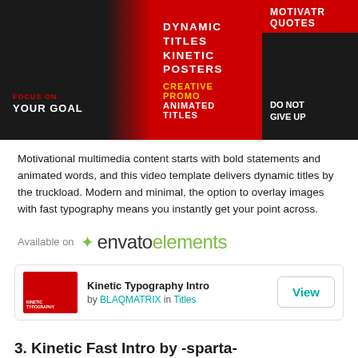[Figure (screenshot): Promotional banner for Kinetic Typography video template showing red and black design with text: FOCUS ON YOUR GOAL, DYNAMIC TITLES, KINETIC POSTERS, CREATIVE PROMO, ANIMATED TITLES, MOTIVATING QUOTES, DO NOT GIVE UP]
Motivational multimedia content starts with bold statements and animated words, and this video template delivers dynamic titles by the truckload. Modern and minimal, the option to overlay images with fast typography means you instantly get your point across.
Available on envato elements
Kinetic Typography Intro by BLAQMATRIX in Titles
3. Kinetic Fast Intro by -sparta-